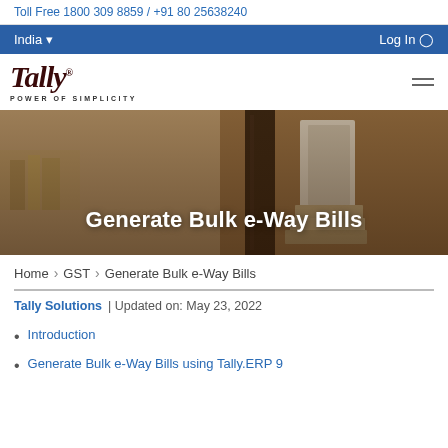Toll Free 1800 309 8859 / +91 80 25638240
India    Log In
[Figure (logo): Tally logo with tagline POWER OF SIMPLICITY]
[Figure (photo): Hero image of stacked books on desk with dark overlay. Title: Generate Bulk e-Way Bills]
Generate Bulk e-Way Bills
Home > GST > Generate Bulk e-Way Bills
Tally Solutions | Updated on: May 23, 2022
Introduction
Generate Bulk e-Way Bills using Tally.ERP 9